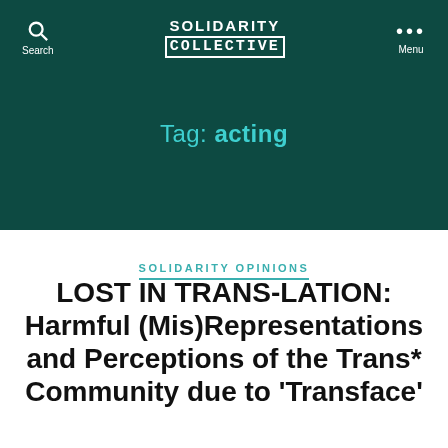SOLIDARITY COLLECTIVE
Tag: acting
SOLIDARITY OPINIONS
LOST IN TRANS-LATION: Harmful (Mis)Representations and Perceptions of the Trans* Community due to 'Transface'